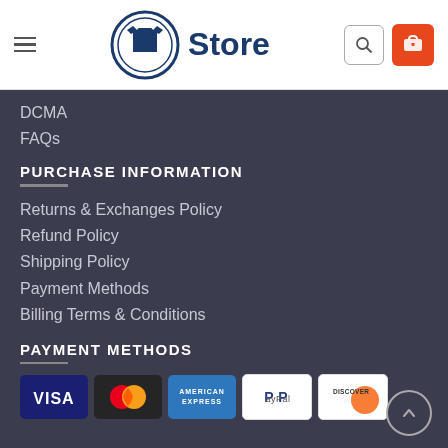[Figure (logo): Store logo with t-shirt icon in circle and 'Store' text]
DCMA
FAQs
PURCHASE INFORMATION
Returns & Exchanges Policy
Refund Policy
Shipping Policy
Payment Methods
Billing Terms & Conditions
PAYMENT METHODS
[Figure (infographic): Payment method logos: Visa, Mastercard, American Express, PayPal, Discover]